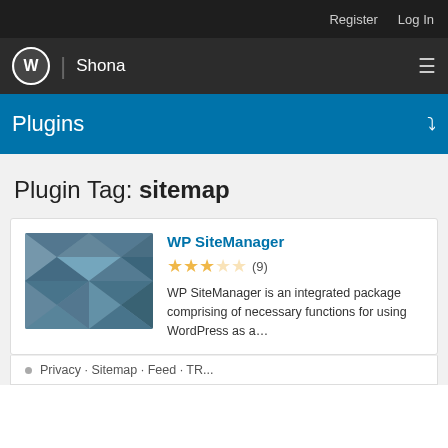Register  Log In
WordPress | Shona
Plugins
Plugin Tag: sitemap
[Figure (illustration): WP SiteManager plugin thumbnail — tiled geometric diamond/triangle pattern in muted blue-grey tones]
WP SiteManager
★★★☆☆ (9)
WP SiteManager is an integrated package comprising of necessary functions for using WordPress as a...
Privacy · Sitemap · Feed · TR...